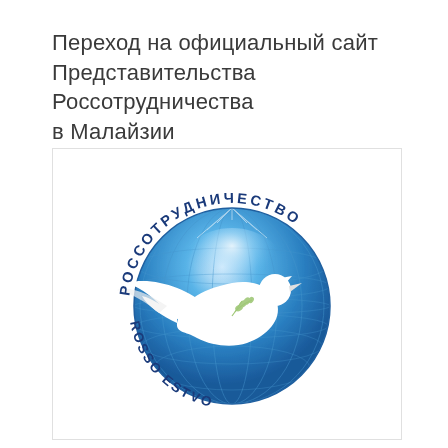Переход на официальный сайт Представительства Россотрудничества в Малайзии
[Figure (logo): Россотрудничество logo: a blue globe with a white dove carrying an olive branch, surrounded by circular text reading РОССОТРУДНИЧЕСТВО (top, in Russian) and ROSSO...ESTVO (bottom, in Latin letters)]